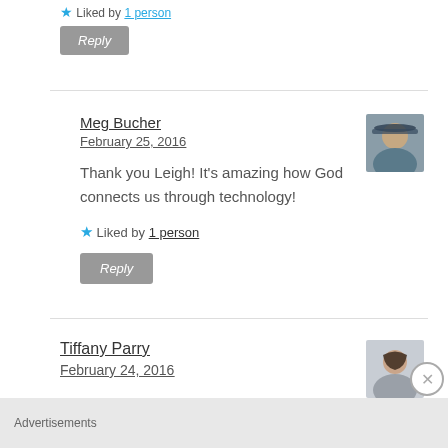Liked by 1 person
Reply
Meg Bucher
February 25, 2016
Thank you Leigh! It's amazing how God connects us through technology!
Liked by 1 person
Reply
Tiffany Parry
February 24, 2016
Advertisements